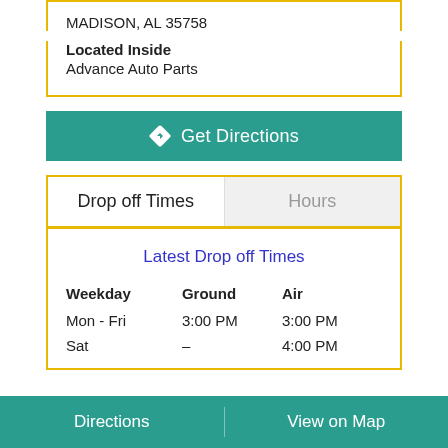MADISON, AL 35758
Located Inside
Advance Auto Parts
Get Directions
Drop off Times
Hours
Latest Drop off Times
| Weekday | Ground | Air |
| --- | --- | --- |
| Mon - Fri | 3:00 PM | 3:00 PM |
| Sat | – | 4:00 PM |
Directions
View on Map